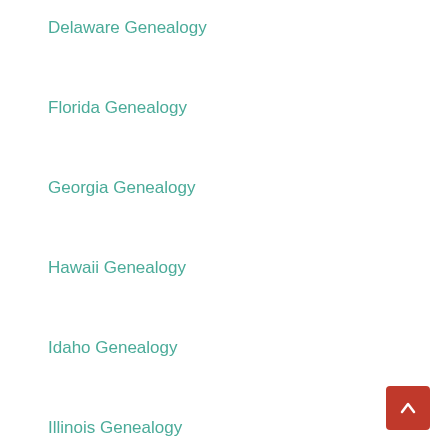Delaware Genealogy
Florida Genealogy
Georgia Genealogy
Hawaii Genealogy
Idaho Genealogy
Illinois Genealogy
Indiana Genealogy
Iowa Genealogy
Kansas Genealogy
Kentucky Genealogy
Louisiana Genealogy
Maine Genealogy
Maryland Genealogy